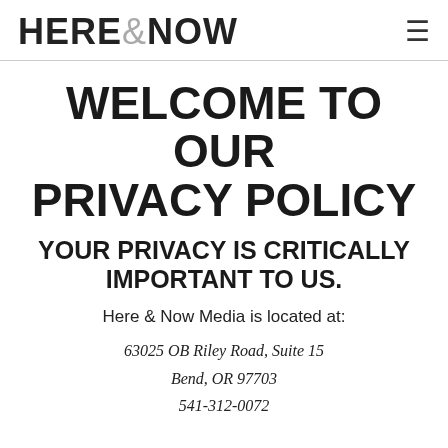HERE&NOW
WELCOME TO OUR PRIVACY POLICY
YOUR PRIVACY IS CRITICALLY IMPORTANT TO US.
Here & Now Media is located at:
63025 OB Riley Road, Suite 15
Bend, OR 97703
541-312-0072